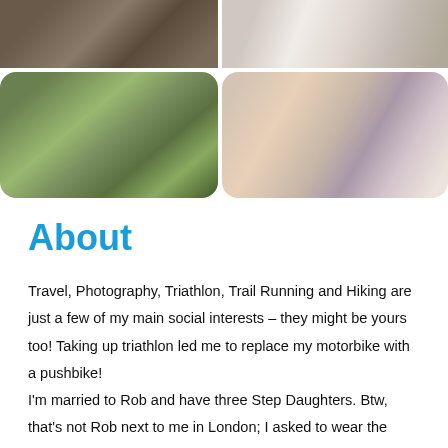[Figure (photo): Grid of four wedding/event photos: top-left shows people at an outdoor ceremony, top-right shows dress details and shoes, bottom-left shows an outdoor wedding ceremony with guests seated among trees, bottom-right shows children and guests at an event table with a bride in veil visible.]
About
Travel, Photography, Triathlon, Trail Running and Hiking are just a few of my main social interests – they might be yours too! Taking up triathlon led me to replace my motorbike with a pushbike! I'm married to Rob and have three Step Daughters. Btw, that's not Rob next to me in London; I asked to wear the policeman's helmet for a photo and he was very happy to pose for the shot 🙂 We used to live